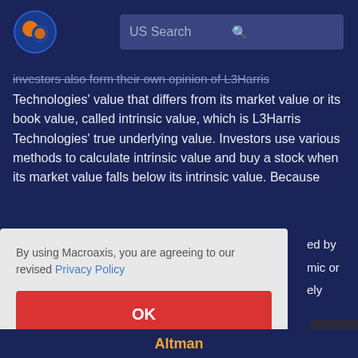[Figure (logo): Macroaxis globe logo with orange and blue colors]
US Search
investors also form their own opinion of L3Harris Technologies' value that differs from its market value or its book value, called intrinsic value, which is L3Harris Technologies' true underlying value. Investors use various methods to calculate intrinsic value and buy a stock when its market value falls below its intrinsic value. Because
ed by
mic or
ely
By using Macroaxis, you are agreeing to our revised Privacy Policy
OK
Altman